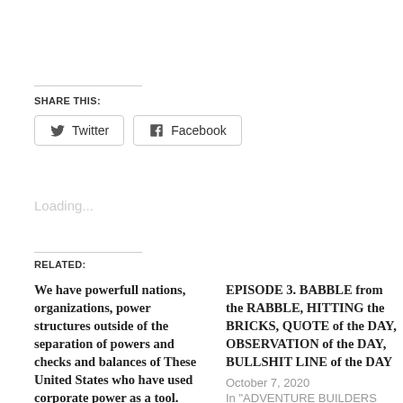SHARE THIS:
Twitter  Facebook
Loading...
RELATED:
We have powerfull nations, organizations, power structures outside of the separation of powers and checks and balances of These United States who have used corporate power as a tool. Public relations, advertising media, pension
EPISODE 3. BABBLE from the RABBLE, HITTING the BRICKS, QUOTE of the DAY, OBSERVATION of the DAY, BULLSHIT LINE of the DAY
October 7, 2020
In "ADVENTURE BUILDERS CLUB"